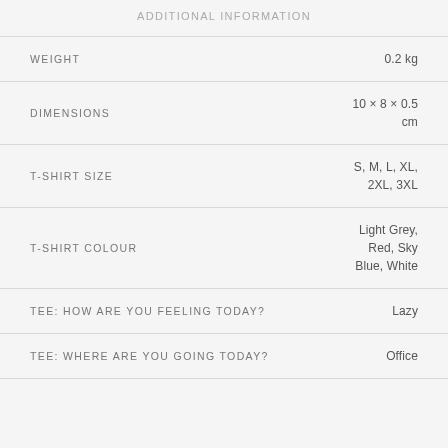ADDITIONAL INFORMATION
| Attribute | Value |
| --- | --- |
| WEIGHT | 0.2 kg |
| DIMENSIONS | 10 × 8 × 0.5 cm |
| T-SHIRT SIZE | S, M, L, XL, 2XL, 3XL |
| T-SHIRT COLOUR | Light Grey, Red, Sky Blue, White |
| TEE: HOW ARE YOU FEELING TODAY? | Lazy |
| TEE: WHERE ARE YOU GOING TODAY? | Office |